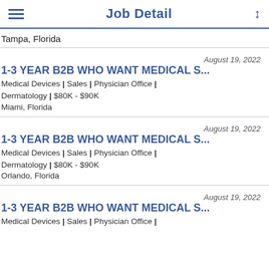Job Detail
Tampa, Florida
August 19, 2022
1-3 YEAR B2B WHO WANT MEDICAL S...
Medical Devices | Sales | Physician Office | Dermatology | $80K - $90K
Miami, Florida
August 19, 2022
1-3 YEAR B2B WHO WANT MEDICAL S...
Medical Devices | Sales | Physician Office | Dermatology | $80K - $90K
Orlando, Florida
August 19, 2022
1-3 YEAR B2B WHO WANT MEDICAL S...
Medical Devices | Sales | Physician Office |